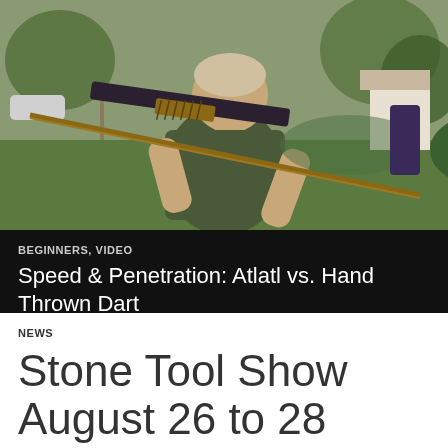[Figure (photo): A heavyset man with a white mustache wearing a green t-shirt holds an atlatl and dart outdoors on a grassy lawn with trees in the background.]
BEGINNERS, VIDEO
Speed & Penetration: Atlatl vs. Hand Thrown Dart
NEWS
Stone Tool Show August 26 to 28
STICKY   CHERYLL   LEAVE A COMMENT